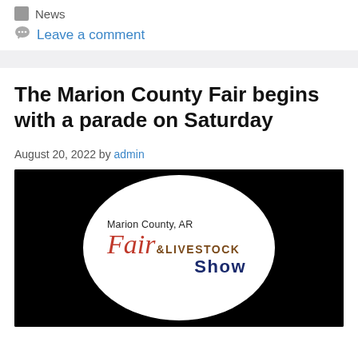News
Leave a comment
The Marion County Fair begins with a parade on Saturday
August 20, 2022 by admin
[Figure (logo): Marion County, AR Fair & Livestock Show logo — white oval on black background with red italic 'Fair', brown bold 'LIVESTOCK', and navy 'Show' text]